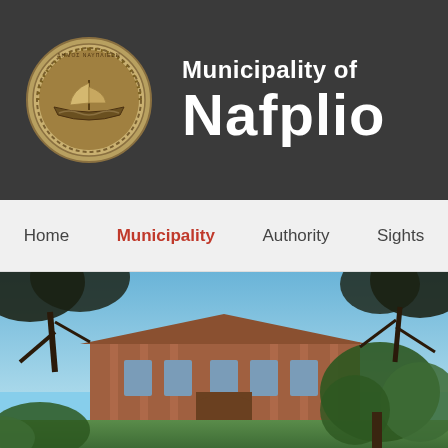[Figure (logo): Municipal seal of Nafplio — circular gold/bronze medallion with a sailing ship in the center surrounded by decorative wreath border]
Municipality of Nafplio
Home | Municipality | Authority | Sights
[Figure (photo): Photograph of a neoclassical building in Nafplio, Greece, with a terracotta roof, surrounded by trees against a blue sky. Tree branches frame the top of the image.]